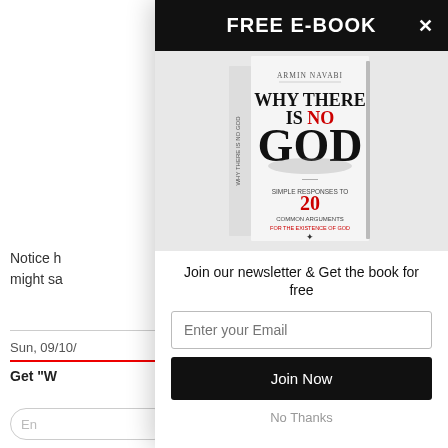Notice ho might sa
Sun, 09/10/
Get "W
En
FREE E-BOOK
[Figure (photo): Book cover: 'Why There Is No God' by Armin Navabi. Simple responses to 20 common arguments for the existence of God. Published by Atheist Republic.]
Join our newsletter & Get the book for free
Enter your Email
Join Now
No Thanks